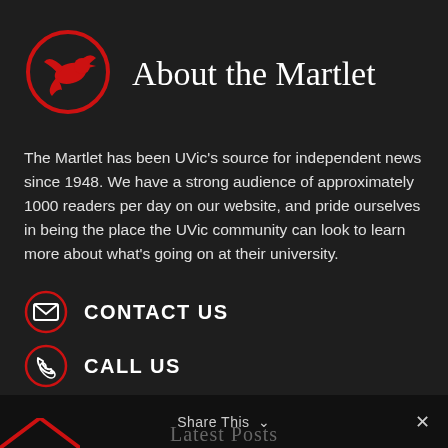[Figure (logo): The Martlet logo: a red bird (swift/martlet) inside a red circle outline, on dark background]
About the Martlet
The Martlet has been UVic's source for independent news since 1948. We have a strong audience of approximately 1000 readers per day on our website, and pride ourselves in being the place the UVic community can look to learn more about what's going on at their university.
CONTACT US
CALL US
[Figure (infographic): Four red circular social media icons: Facebook, Instagram, Twitter, TikTok]
Share This ∨